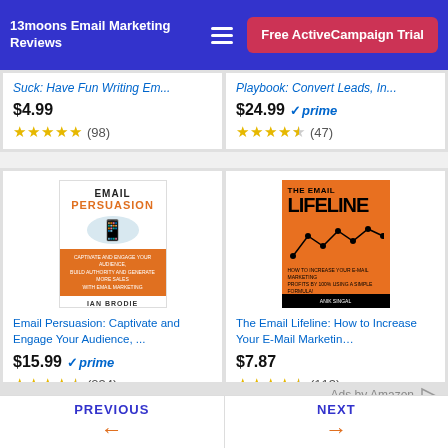13moons Email Marketing Reviews | Free ActiveCampaign Trial
Suck: Have Fun Writing Em... $4.99 ★★★★★ (98)
Playbook: Convert Leads, In... $24.99 prime ★★★★½ (47)
[Figure (photo): Email Persuasion book cover by Ian Brodie - orange and white design]
Email Persuasion: Captivate and Engage Your Audience, ... $15.99 prime ★★★★½ (234)
[Figure (photo): The Email Lifeline book cover by Anik Singal - orange design]
The Email Lifeline: How to Increase Your E-Mail Marketin… $7.87 ★★★★½ (113)
Ads by Amazon
PREVIOUS | NEXT